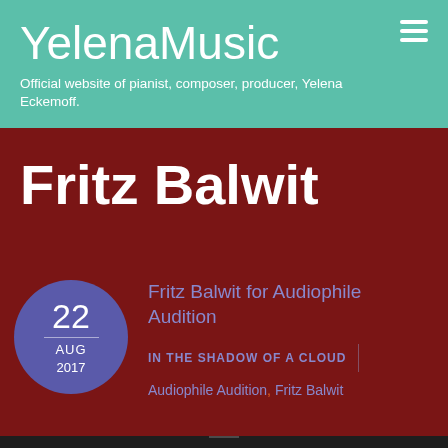YelenaMusic
Official website of pianist, composer, producer, Yelena Eckemoff.
Fritz Balwit
22 AUG 2017
Fritz Balwit for Audiophile Audition
IN THE SHADOW OF A CLOUD
Audiophile Audition, Fritz Balwit